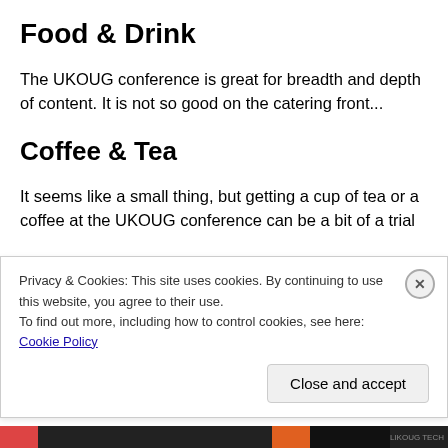Food & Drink
The UKOUG conference is great for breadth and depth of content. It is not so good on the catering front...
Coffee & Tea
It seems like a small thing, but getting a cup of tea or a coffee at the UKOUG conference can be a bit of a trial
Privacy & Cookies: This site uses cookies. By continuing to use this website, you agree to their use.
To find out more, including how to control cookies, see here: Cookie Policy